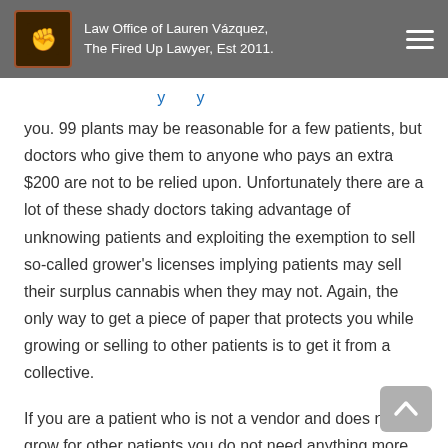Law Office of Lauren Vázquez, The Fired Up Lawyer, Est 2011.
you. 99 plants may be reasonable for a few patients, but doctors who give them to anyone who pays an extra $200 are not to be relied upon. Unfortunately there are a lot of these shady doctors taking advantage of unknowing patients and exploiting the exemption to sell so-called grower's licenses implying patients may sell their surplus cannabis when they may not. Again, the only way to get a piece of paper that protects you while growing or selling to other patients is to get it from a collective.
If you are a patient who is not a vendor and does not grow for other patients you do not need anything more than the standard medical cannabis recommendation letter. Before visiting a pot recommendation mill and forking over your hard-earned cash, ask your treating physician if they will give you